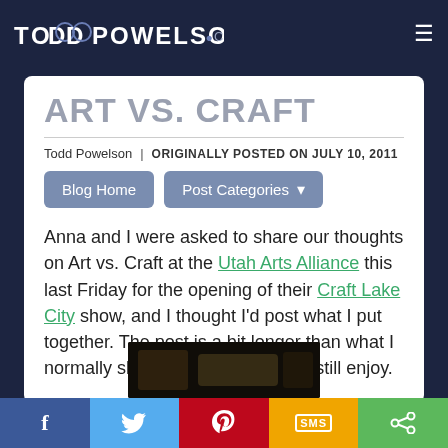TODD POWELSON.COM
ART VS. CRAFT
Todd Powelson  |  ORIGINALLY POSTED ON JULY 10, 2011
Blog Home  |  Post Categories
Anna and I were asked to share our thoughts on Art vs. Craft at the Utah Arts Alliance this last Friday for the opening of their Craft Lake City show, and I thought I'd post what I put together. The post is a bit longer than what I normally shoot for, but I hope you still enjoy.
[Figure (photo): Partial image of a craft/art item on dark background]
f  [Twitter bird]  [Pinterest P]  SMS  [share icon]